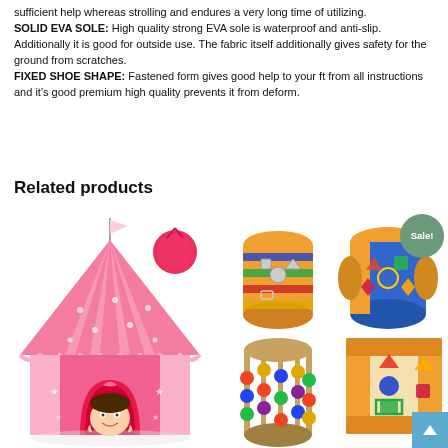sufficient help whereas strolling and endures a very long time of utilizing. SOLID EVA SOLE: High quality strong EVA sole is waterproof and anti-slip. Additionally it is good for outside use. The fabric itself additionally gives safety for the ground from scratches. FIXED SHOE SHAPE: Fastened form gives good help to your ft from all instructions and it's good premium high quality prevents it from deform.
Related products
[Figure (photo): Pink princess castle play tent with a child sitting inside, and a pink carry bag shown to the upper right.]
[Figure (photo): Four wooden shape-sorting toy cylinders/drums with colorful geometric shapes, arranged in a 2x2 grid. A Sale! badge appears in the top right corner.]